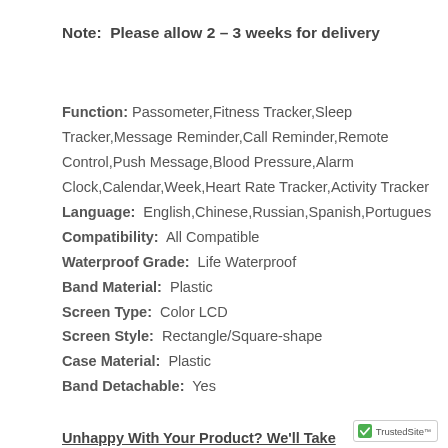Note: Please allow 2 – 3 weeks for delivery
Function: Passometer,Fitness Tracker,Sleep Tracker,Message Reminder,Call Reminder,Remote Control,Push Message,Blood Pressure,Alarm Clock,Calendar,Week,Heart Rate Tracker,Activity Tracker
Language: English,Chinese,Russian,Spanish,Portugues
Compatibility: All Compatible
Waterproof Grade: Life Waterproof
Band Material: Plastic
Screen Type: Color LCD
Screen Style: Rectangle/Square-shape
Case Material: Plastic
Band Detachable: Yes
Unhappy With Your Product? We'll Take